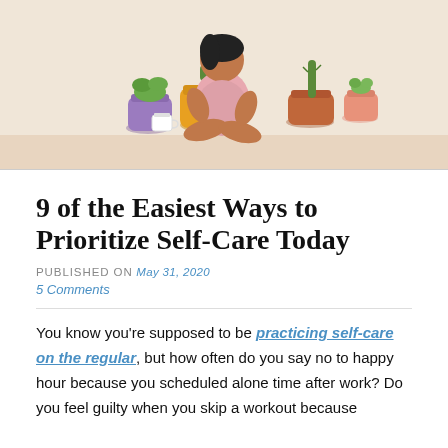[Figure (illustration): Illustrated woman with dark hair sitting cross-legged surrounded by potted cacti and plants in a yellow, purple, and terracotta/orange pots on a light beige background with a white coffee cup nearby]
9 of the Easiest Ways to Prioritize Self-Care Today
PUBLISHED ON May 31, 2020
5 Comments
You know you’re supposed to be practicing self-care on the regular, but how often do you say no to happy hour because you scheduled alone time after work? Do you feel guilty when you skip a workout because